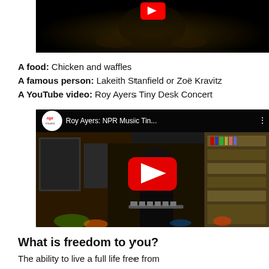[Figure (screenshot): Top portion of a YouTube video showing a dark performance scene with a person visible]
A food: Chicken and waffles
A famous person: Lakeith Stanfield or Zoë Kravitz
A YouTube video: Roy Ayers Tiny Desk Concert
[Figure (screenshot): YouTube video embed: Roy Ayers: NPR Music Tin... - NPR music tiny desk concert, showing musician with vibraphone with large red play button overlay]
What is freedom to you?
The ability to live a full life free from